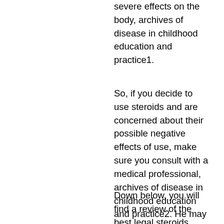severe effects on the body, archives of disease in childhood education and practice1.
So, if you decide to use steroids and are concerned about their possible negative effects of use, make sure you consult with a medical professional, archives of disease in childhood education and practice2. He may be able to recommend a course of action to you, if you have already been taking them and can't stop, and if you want to reduce your chances of developing other side effects, steroid side effects gastrointestinal.
Down below, you will find a review of the best legal steroids stacks you can get on the market.